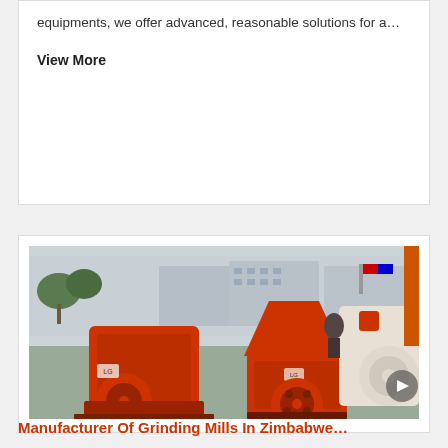equipments, we offer advanced, reasonable solutions for a…
View More
[Figure (photo): Multiple orange-colored grinding mill / hammer crusher machines displayed outdoors in a factory yard, with white industrial buildings in background.]
Manufacturer Of Grinding Mills In Zimbabwe…